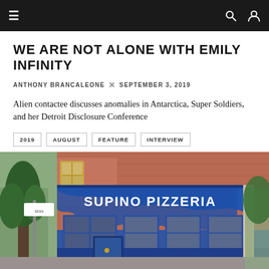Navigation bar with hamburger menu, search and user icons
WE ARE NOT ALONE WITH EMILY INFINITY
ANTHONY BRANCALEONE  ×  SEPTEMBER 3, 2019
Alien contactee discusses anomalies in Antarctica, Super Soldiers, and her Detroit Disclosure Conference
2019
AUGUST
FEATURE
INTERVIEW
[Figure (photo): Street-level photo of Supino Pizzeria storefront with blue awning, brick building, and signage reading SUPINO PIZZERIA]